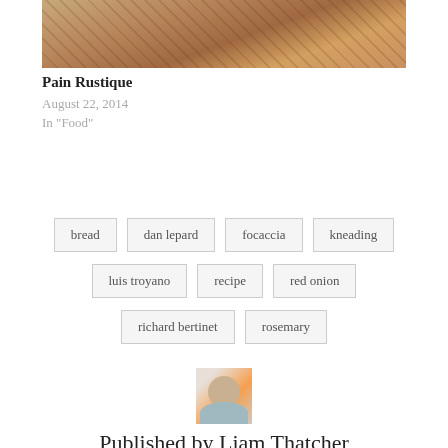[Figure (photo): Close-up photo of a round rustic bread loaf on a wire cooling rack]
Pain Rustique
August 22, 2014
In "Food"
bread
dan lepard
focaccia
kneading
luis troyano
recipe
red onion
richard bertinet
rosemary
[Figure (photo): Author profile photo of Liam Thatcher]
Published by Liam Thatcher